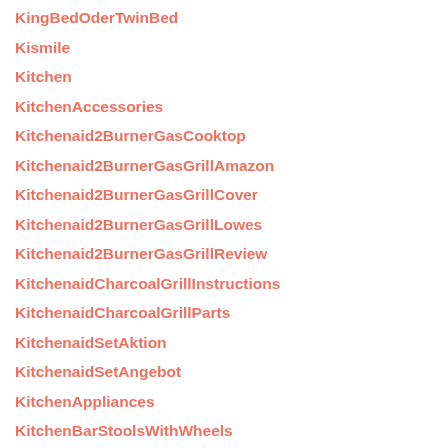KingBedOderTwinBed
Kismile
Kitchen
KitchenAccessories
Kitchenaid2BurnerGasCooktop
Kitchenaid2BurnerGasGrillAmazon
Kitchenaid2BurnerGasGrillCover
Kitchenaid2BurnerGasGrillLowes
Kitchenaid2BurnerGasGrillReview
KitchenaidCharcoalGrillInstructions
KitchenaidCharcoalGrillParts
KitchenaidSetAktion
KitchenaidSetAngebot
KitchenAppliances
KitchenBarStools WithWheels